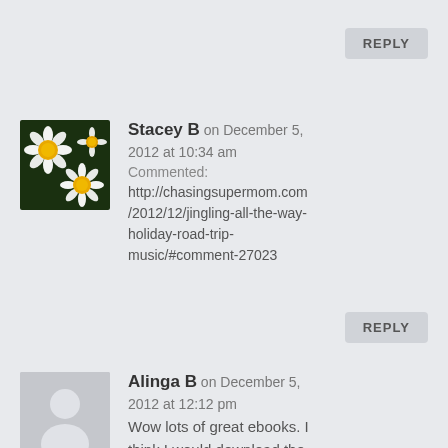REPLY
Stacey B on December 5, 2012 at 10:34 am
Commented:
http://chasingsupermom.com/2012/12/jingling-all-the-way-holiday-road-trip-music/#comment-27023
REPLY
Alinga B on December 5, 2012 at 12:12 pm
Wow lots of great ebooks. I think I would download the